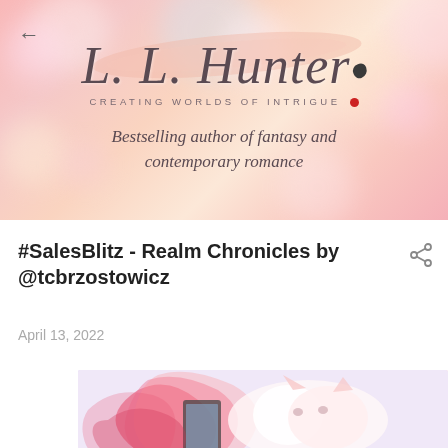[Figure (illustration): L.L. Hunter author blog header banner with pink bokeh background, cursive logo text reading 'L. L. Hunter', tagline 'CREATING WORLDS OF INTRIGUE', and subtitle 'Bestselling author of fantasy and contemporary romance']
#SalesBlitz - Realm Chronicles by @tcbrzostowicz
April 13, 2022
[Figure (photo): Fantasy book cover image showing stylized fox or wolf with red flowing hair/fur on a light background, partial view of a smartphone or tablet device]